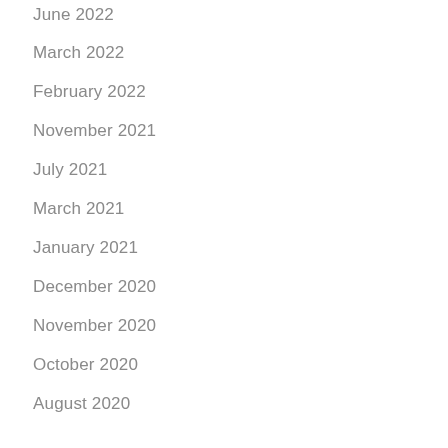June 2022
March 2022
February 2022
November 2021
July 2021
March 2021
January 2021
December 2020
November 2020
October 2020
August 2020